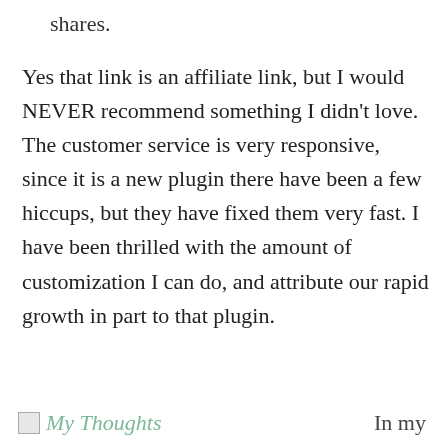shares.
Yes that link is an affiliate link, but I would NEVER recommend something I didn't love. The customer service is very responsive, since it is a new plugin there have been a few hiccups, but they have fixed them very fast. I have been thrilled with the amount of customization I can do, and attribute our rapid growth in part to that plugin.
[Figure (illustration): Small image placeholder with 'My Thoughts' text in teal/green italic font]
In my